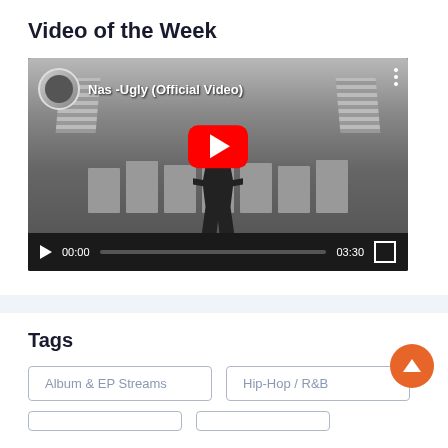Video of the Week
[Figure (screenshot): YouTube video embed showing 'Nas -Ugly (Official Video)' with a grayscale thumbnail of a figure in front of a building with flags, red YouTube play button, and video controls showing 00:00 / 03:30]
Tags
Album & EP Streams
Hip-Hop / R&B